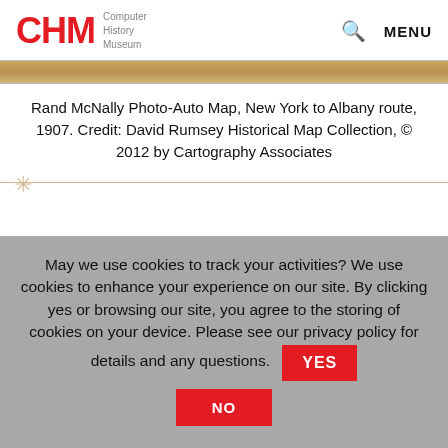CHM Computer History Museum | Search | MENU
[Figure (photo): Partial view of a Rand McNally Photo-Auto Map, vintage 1907]
Rand McNally Photo-Auto Map, New York to Albany route, 1907. Credit: David Rumsey Historical Map Collection, © 2012 by Cartography Associates
May we use cookies to track your activities? We use cookies to enhance your experience on our site. By clicking yes or browsing our site, you agree to the storing of cookies on your device. Please see our privacy policy for details and any questions.
YES
NO